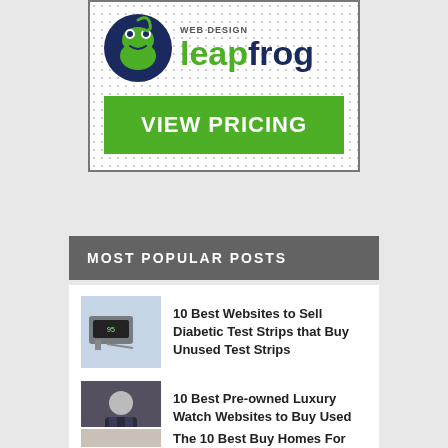[Figure (logo): Leapfrog Web Design logo with a frog icon and green/navy text, plus a green VIEW PRICING button]
MOST POPULAR POSTS
10 Best Websites to Sell Diabetic Test Strips that Buy Unused Test Strips
10 Best Pre-owned Luxury Watch Websites to Buy Used Watches Online
The 10 Best Buy Homes For